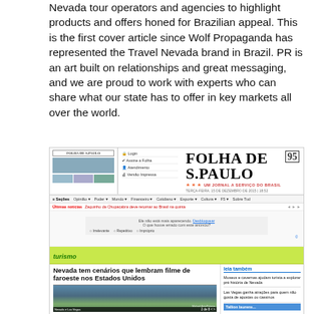Nevada tour operators and agencies to highlight products and offers honed for Brazilian appeal. This is the first cover article since Wolf Propaganda has represented the Travel Nevada brand in Brazil. PR is an art built on relationships and great messaging, and we are proud to work with experts who can share what our state has to offer in key markets all over the world.
[Figure (screenshot): Screenshot of Folha de S.Paulo website showing the turismo section with article 'Nevada tem cenários que lembram filme de faroeste nos Estados Unidos' and sidebar with related links]
Folha de S.Paulo website screenshot showing Nevada travel article in the turismo section